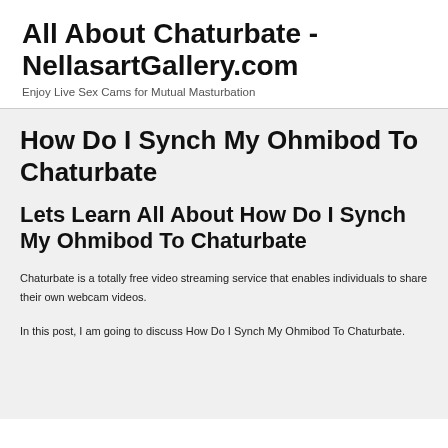All About Chaturbate - NellasartGallery.com
Enjoy Live Sex Cams for Mutual Masturbation
How Do I Synch My Ohmibod To Chaturbate
Lets Learn All About How Do I Synch My Ohmibod To Chaturbate
Chaturbate is a totally free video streaming service that enables individuals to share their own webcam videos.
In this post, I am going to discuss How Do I Synch My Ohmibod To Chaturbate.